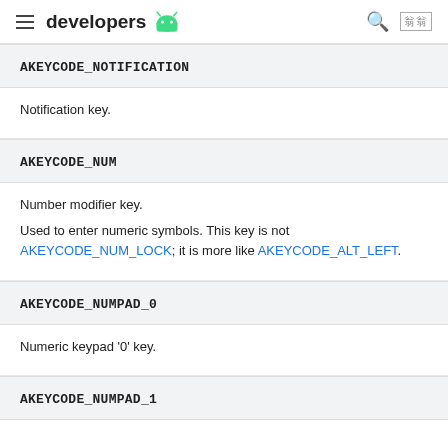≡ developers 🤖 🔍 🌐
AKEYCODE_NOTIFICATION
Notification key.
AKEYCODE_NUM
Number modifier key.
Used to enter numeric symbols. This key is not AKEYCODE_NUM_LOCK; it is more like AKEYCODE_ALT_LEFT.
AKEYCODE_NUMPAD_0
Numeric keypad '0' key.
AKEYCODE_NUMPAD_1